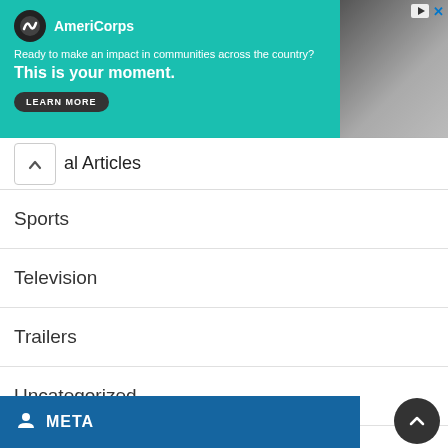[Figure (screenshot): AmeriCorps advertisement banner with teal background. Logo on left, photo on right. Text: 'Ready to make an impact in communities across the country? This is your moment.' with LEARN MORE button.]
al Articles
Sports
Television
Trailers
Uncategorized
Upcoming Movies
Web Series
WWE
META